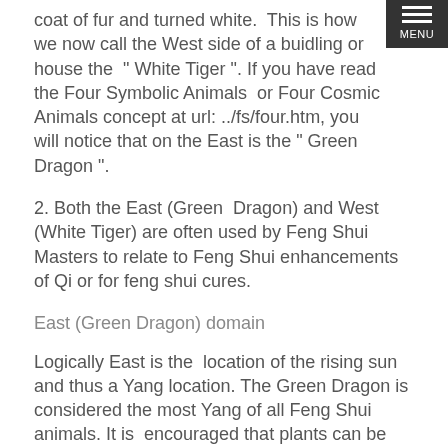coat of fur and turned white.  This is how we now call the West side of a buidling or house the  " White Tiger ". If you have read the Four Symbolic Animals  or Four Cosmic Animals concept at url: ../fs/four.htm, you will notice that on the East is the " Green Dragon ".
2. Both the East (Green  Dragon) and West (White Tiger) are often used by Feng Shui Masters to relate to Feng Shui enhancements of Qi or for feng shui cures.
East (Green Dragon) domain
Logically East is the  location of the rising sun and thus a Yang location. The Green Dragon is considered the most Yang of all Feng Shui animals. It is  encouraged that plants can be grown here.
West (White Tiger) domain